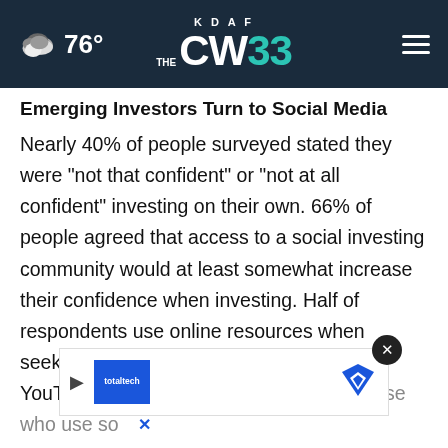76° KDAF CW33
Emerging Investors Turn to Social Media
Nearly 40% of people surveyed stated they were "not that confident" or "not at all confident" investing on their own. 66% of people agreed that access to a social investing community would at least somewhat increase their confidence when investing. Half of respondents use online resources when seeking education in investing. At 63%, YouTube was the most popular among those who use social media followed by Facebook at 44% and Twitter at 34%
[Figure (screenshot): Advertisement overlay with blue company logo box, play button, and map/navigation icon on the right, with a close (X) button]